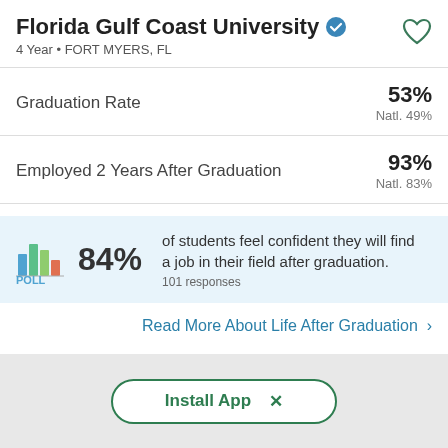Florida Gulf Coast University
4 Year • FORT MYERS, FL
Graduation Rate
53%
Natl. 49%
Employed 2 Years After Graduation
93%
Natl. 83%
[Figure (bar-chart): Small bar chart icon with blue, green, and orange bars]
84% of students feel confident they will find a job in their field after graduation.
101 responses
Read More About Life After Graduation >
Install App  ×